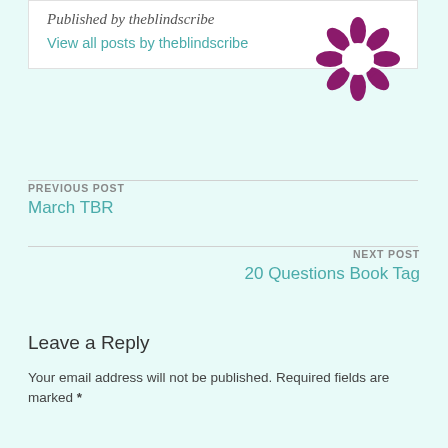Published by theblindscribe
View all posts by theblindscribe
[Figure (logo): Purple decorative wreath/circular logo for theblindscribe]
PREVIOUS POST
March TBR
NEXT POST
20 Questions Book Tag
Leave a Reply
Your email address will not be published. Required fields are marked *